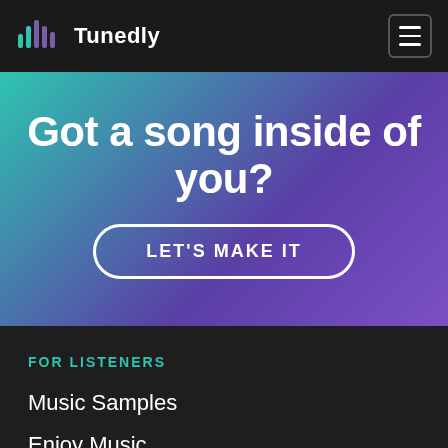Tunedly
Got a song inside of you?
LET'S MAKE IT
FOR LISTENERS
Music Samples
Enjoy Music